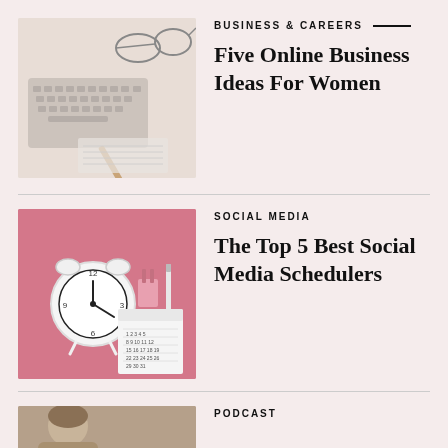[Figure (photo): Flat lay of keyboard, glasses, notebook and pen on white/light surface]
BUSINESS & CAREERS
Five Online Business Ideas For Women
[Figure (photo): Alarm clock, calendar, pen and binder clip on pink background]
SOCIAL MEDIA
The Top 5 Best Social Media Schedulers
[Figure (photo): Partial view of a person, bottom of article row 3]
PODCAST